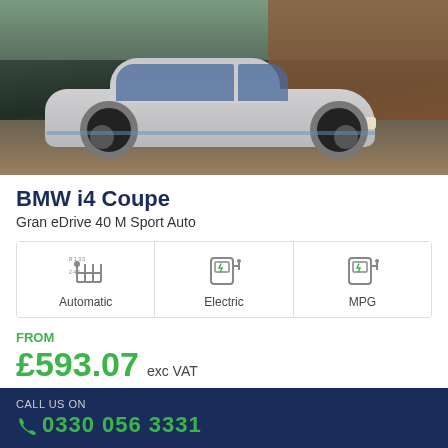[Figure (photo): White BMW i4 Coupe parked in a modern driveway/garage setting with wooden wall backdrop and concrete floor]
BMW i4 Coupe
Gran eDrive 40 M Sport Auto
[Figure (infographic): Three spec icons: Automatic (gear shift icon), Electric (EV charging station icon), MPG (fuel pump icon with lightning bolt)]
FROM
£593.07 exc VAT
Initial rental: £5,337.63 exc VAT 48 months, 10000 annual mileage, P11D £54,925.00
VIEW DEAL →
CALL US ON 0330 056 3331